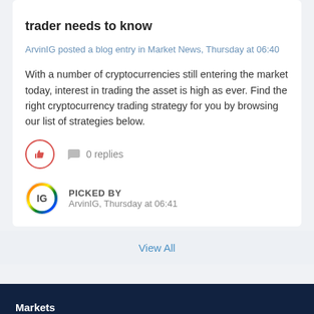The 8 crypto trading strategies that every trader needs to know
ArvinIG posted a blog entry in Market News, Thursday at 06:40
With a number of cryptocurrencies still entering the market today, interest in trading the asset is high as ever. Find the right cryptocurrency trading strategy for you by browsing our list of strategies below.
[Figure (infographic): Like button (red circle thumbs-up icon) and comment icon with '0 replies' text]
[Figure (infographic): User avatar with rainbow border showing 'IG' text, labeled PICKED BY ArvinIG, Thursday at 06:41]
View All
Markets